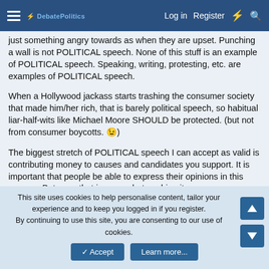DebatePolitics — Log in | Register
...just something angry towards as when they are upset. Punching a wall is not POLITICAL speech. None of this stuff is an example of POLITICAL speech. Speaking, writing, protesting, etc. are examples of POLITICAL speech.
When a Hollywood jackass starts trashing the consumer society that made him/her rich, that is barely political speech, so habitual liar-half-wits like Michael Moore SHOULD be protected. (but not from consumer boycotts. 😉)
The biggest stretch of POLITICAL speech I can accept as valid is contributing money to causes and candidates you support. It is important that people be able to express their opinions in this manner. But even that is somewhat pushing it.
This site uses cookies to help personalise content, tailor your experience and to keep you logged in if you register. By continuing to use this site, you are consenting to our use of cookies.